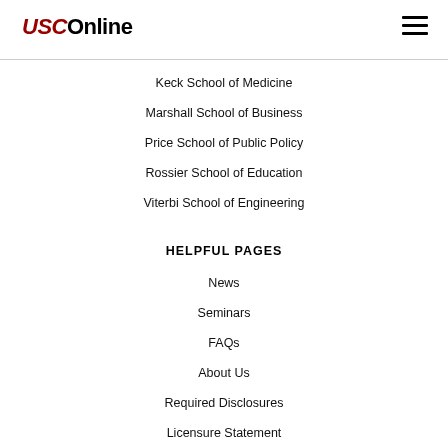USC Online
Keck School of Medicine
Marshall School of Business
Price School of Public Policy
Rossier School of Education
Viterbi School of Engineering
HELPFUL PAGES
News
Seminars
FAQs
About Us
Required Disclosures
Licensure Statement
Authorized States
State Disclosures